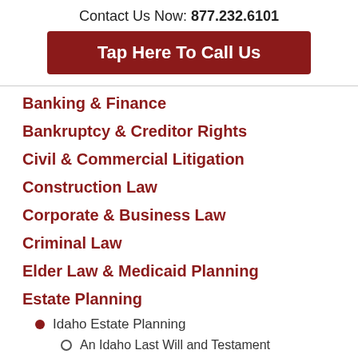Contact Us Now: 877.232.6101
[Figure (other): Dark red button labeled 'Tap Here To Call Us']
Banking & Finance
Bankruptcy & Creditor Rights
Civil & Commercial Litigation
Construction Law
Corporate & Business Law
Criminal Law
Elder Law & Medicaid Planning
Estate Planning
Idaho Estate Planning
An Idaho Last Will and Testament
Doing Your Power of Attorney Right